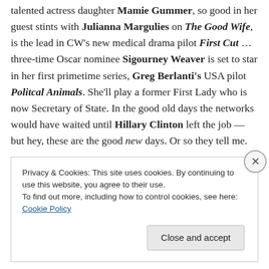talented actress daughter Mamie Gummer, so good in her guest stints with Julianna Margulies on The Good Wife, is the lead in CW's new medical drama pilot First Cut … three-time Oscar nominee Sigourney Weaver is set to star in her first primetime series, Greg Berlanti's USA pilot Politcal Animals. She'll play a former First Lady who is now Secretary of State. In the good old days the networks would have waited until Hillary Clinton left the job — but hey, these are the good new days. Or so they tell me.
Privacy & Cookies: This site uses cookies. By continuing to use this website, you agree to their use. To find out more, including how to control cookies, see here: Cookie Policy
Close and accept